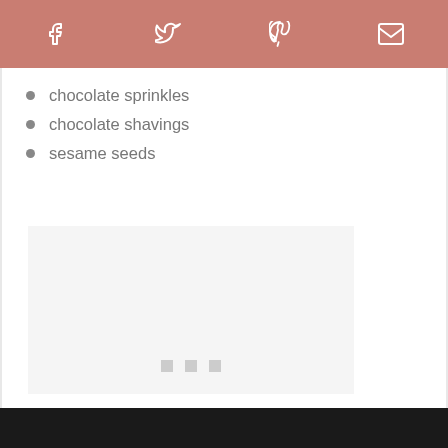Social share bar with Facebook, Twitter, Pinterest, Email icons
chocolate sprinkles
chocolate shavings
sesame seeds
[Figure (photo): A large light gray image placeholder rectangle with three small gray squares at the bottom center, likely a loading placeholder for a food photo.]